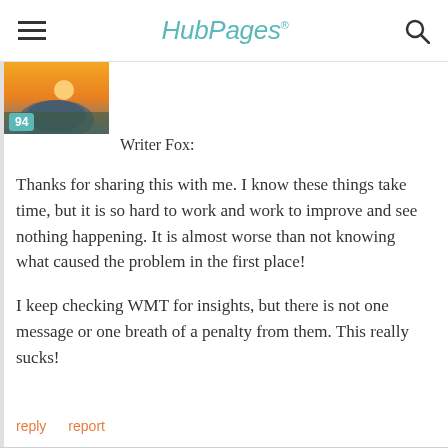HubPages
[Figure (photo): User avatar photo with teal score badge showing '94']
Writer Fox:
Thanks for sharing this with me.  I know these things take time, but it is so hard to work and work to improve and see nothing happening.  It is almost worse than not knowing what caused the problem in the first place!
I keep checking WMT for insights, but there is not one message or one breath of a penalty from them.  This really sucks!
reply   report